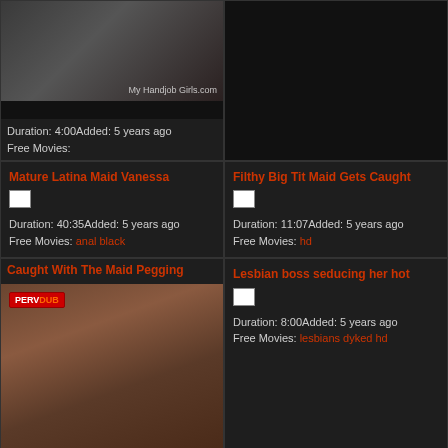[Figure (screenshot): Video thumbnail top left showing woman]
Duration: 4:00Added: 5 years ago
Free Movies:
[Figure (screenshot): Dark empty area top right]
Mature Latina Maid Vanessa
[Figure (photo): Broken image thumbnail]
Duration: 40:35Added: 5 years ago
Free Movies: anal black
Filthy Big Tit Maid Gets Caught
[Figure (photo): Broken image thumbnail]
Duration: 11:07Added: 5 years ago
Free Movies: hd
Caught With The Maid Pegging
[Figure (photo): Video thumbnail large showing pegging scene with PervDude watermark]
Duration: 2:00Added: 5 years ago
Free Movies:
Lesbian boss seducing her hot
[Figure (photo): Broken image thumbnail]
Duration: 8:00Added: 5 years ago
Free Movies: lesbians dyked hd